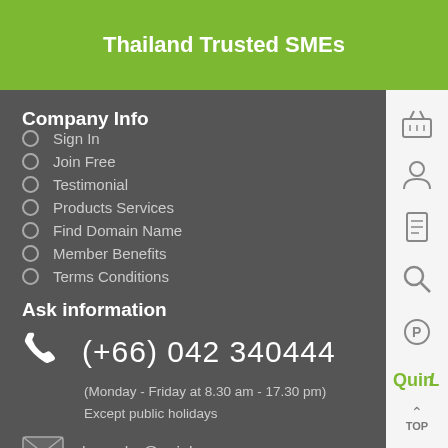Thailand Trusted SMEs
Company Info
Sign In
Join Free
Testimonial
Products Services
Find Domain Name
Member Benefits
Terms Conditions
Ask information
(+66) 042 340444
(Monday - Friday at 8.30 am - 17.30 pm) Except public holidays
bussaba@quinl.com